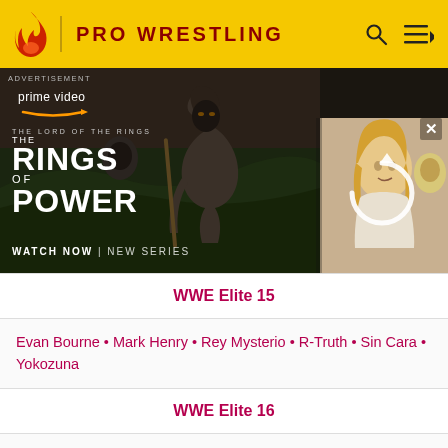PRO WRESTLING
[Figure (photo): Advertisement for Amazon Prime Video's 'The Lord of the Rings: The Rings of Power' new series. Shows a hooded dark figure and a blonde woman in a fantasy setting. Text reads: prime video, THE LORD OF THE RINGS, THE RINGS OF POWER, WATCH NOW | NEW SERIES]
| WWE Elite 15 |
| Evan Bourne • Mark Henry • Rey Mysterio • R-Truth • Sin Cara • Yokozuna |
| WWE Elite 16 |
| CM Punk • Diesel • Ezekiel Jackson • Heath Slater • Kevin Nash • Randy Orton • The Rock |
| WWE Elite 17 |